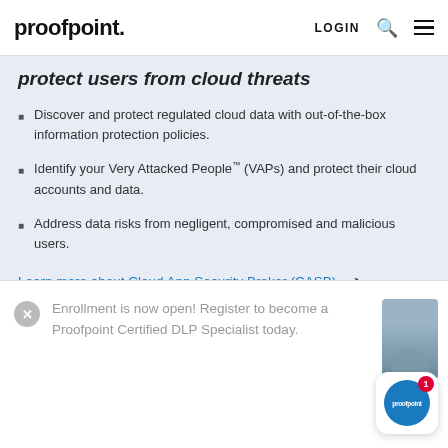proofpoint. LOGIN
protect users from cloud threats
Discover and protect regulated cloud data with out-of-the-box information protection policies.
Identify your Very Attacked People™ (VAPs) and protect their cloud accounts and data.
Address data risks from negligent, compromised and malicious users.
Learn more about Cloud App Security Broker (CASB) →
Enrollment is now open! Register to become a Proofpoint Certified DLP Specialist today.